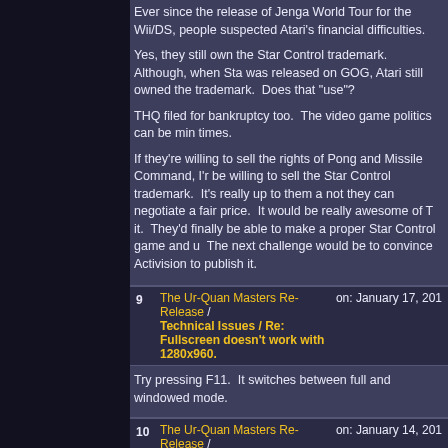Ever since the release of Jenga World Tour for the Wii/DS, people suspected Atari's financial difficulties.
Yes, they still own the Star Control trademark. Although, when Sta... was released on GOG, Atari still owned the trademark. Does that ... "use"?
THQ filed for bankruptcy too. The video game politics can be min... times.
If they're willing to sell the rights of Pong and Missile Command, I'r... be willing to sell the Star Control trademark. It's really up to them a... not they can negotiate a fair price. It would be really awesome of T... it. They'd finally be able to make a proper Star Control game and u... The next challenge would be to convince Activision to publish it.
9 The Ur-Quan Masters Re-Release / Technical Issues / Re: Fullscreen doesn't work with 1280x960. on: January 17, 201...
Try pressing F11. It switches between full and windowed mode.
10 The Ur-Quan Masters Re-Release / Starbase Café / Re: Quest for the ultimate programming language on: January 14, 201...
Quote from: daddyo on January 12, 2013, 08:16:16 am